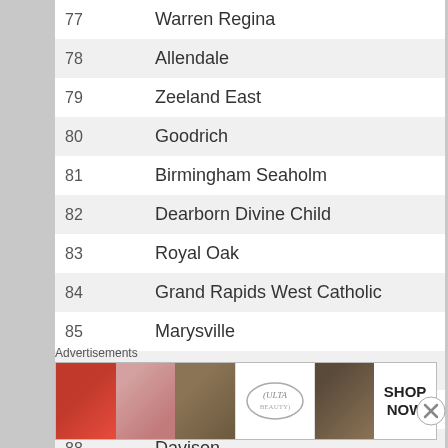| Rank | School |
| --- | --- |
| 77 | Warren Regina |
| 78 | Allendale |
| 79 | Zeeland East |
| 80 | Goodrich |
| 81 | Birmingham Seaholm |
| 82 | Dearborn Divine Child |
| 83 | Royal Oak |
| 84 | Grand Rapids West Catholic |
| 85 | Marysville |
| 86 | Sparta |
| 87 | Grand Rapids Kenowa Hills |
| 88 | Davison |
Advertisements
[Figure (photo): Ulta Beauty advertisement banner with makeup photos and SHOP NOW text]